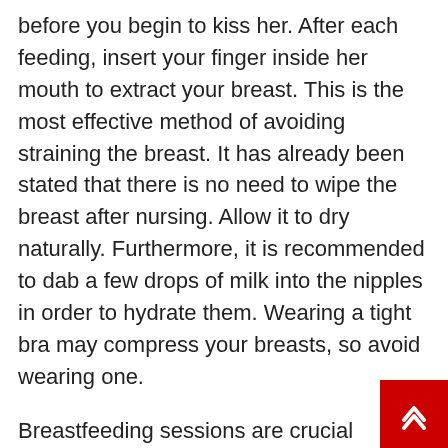before you begin to kiss her. After each feeding, insert your finger inside her mouth to extract your breast. This is the most effective method of avoiding straining the breast. It has already been stated that there is no need to wipe the breast after nursing. Allow it to dry naturally. Furthermore, it is recommended to dab a few drops of milk into the nipples in order to hydrate them. Wearing a tight bra may compress your breasts, so avoid wearing one.
Breastfeeding sessions are crucial moments in a mother's life since they assist to strengthen the connection she has with her child. So don't be afraid to take good care of your nipples in order to prolong this time. The suggestions provided here will make